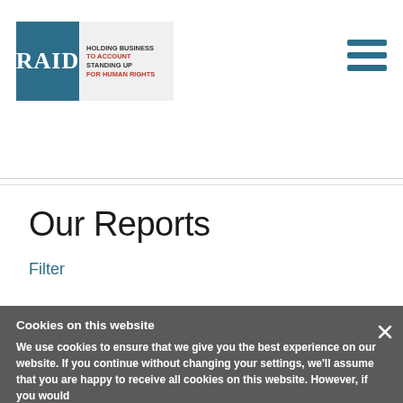[Figure (logo): RAID logo: blue square with white RAID text next to grey block with text 'HOLDING BUSINESS TO ACCOUNT STANDING UP FOR HUMAN RIGHTS']
[Figure (other): Hamburger menu icon — three horizontal dark blue bars]
Our Reports
Filter
Cookies on this website
We use cookies to ensure that we give you the best experience on our website. If you continue without changing your settings, we'll assume that you are happy to receive all cookies on this website. However, if you would